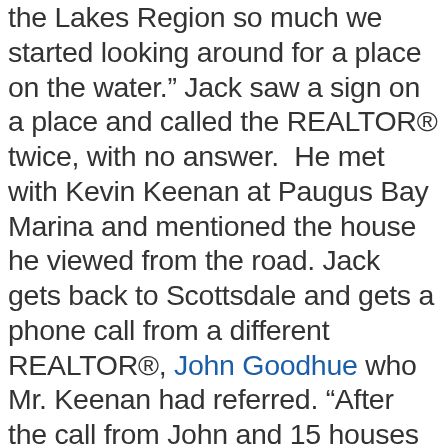the Lakes Region so much we started looking around for a place on the water.” Jack saw a sign on a place and called the REALTOR® twice, with no answer.  He met with Kevin Keenan at Paugus Bay Marina and mentioned the house he viewed from the road. Jack gets back to Scottsdale and gets a phone call from a different REALTOR®, John Goodhue who Mr. Keenan had referred. “After the call from John and 15 houses later we decided on a beautiful lake home in Alton on the Wolfeboro line. It had everything we needed… great views overlooking the Varney islands, 5-bedrooms, 7-baths, theatre room and an impressive exercise room for Jack. We love the peaceful setting on the lake where it’s so easy to boat to so many interesting restaurants. We also love the close calls to each of the marinas and f…